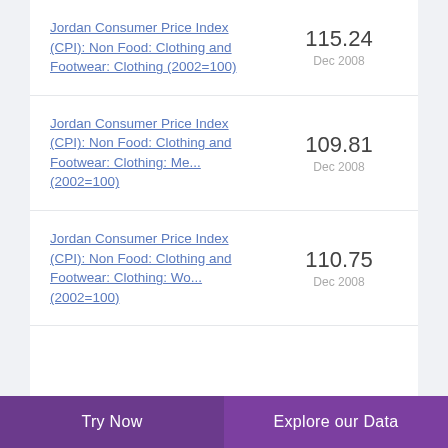Jordan Consumer Price Index (CPI): Non Food: Clothing and Footwear: Clothing (2002=100)
Jordan Consumer Price Index (CPI): Non Food: Clothing and Footwear: Clothing: Me... (2002=100)
Jordan Consumer Price Index (CPI): Non Food: Clothing and Footwear: Clothing: Wo... (2002=100)
Try Now | Explore our Data